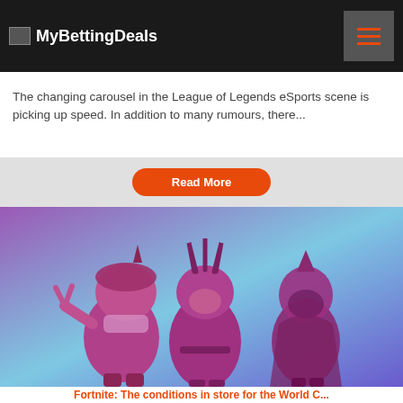MyBettingDeals
The changing carousel in the League of Legends eSports scene is picking up speed. In addition to many rumours, there...
Read More
[Figure (illustration): Three Fortnite game characters with purple and pink color overlay on a blue-purple gradient background. Characters include one making a peace sign, one in center with antler-like headgear, and one in background.]
Fortnite: The conditions in store for the World C...